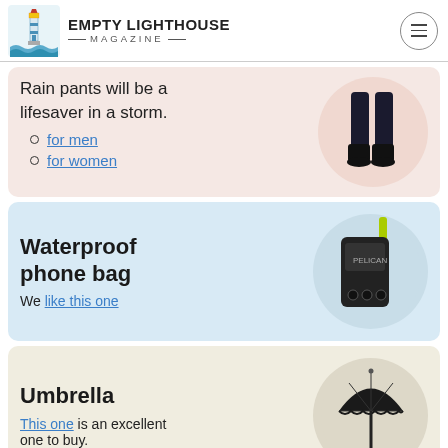EMPTY LIGHTHOUSE MAGAZINE
Rain pants will be a lifesaver in a storm.
for men
for women
[Figure (photo): Person wearing black rain pants and boots]
Waterproof phone bag
We like this one
[Figure (photo): Black waterproof phone bag with yellow-green lanyard strap]
Umbrella
This one is an excellent one to buy.
[Figure (photo): Black folded umbrella]